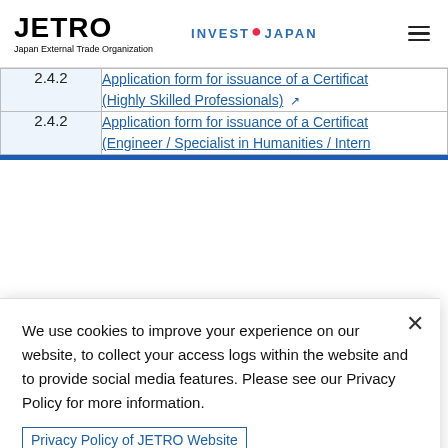JETRO Japan External Trade Organization | INVEST JAPAN
| Section | Document |
| --- | --- |
| 2.4.2 | Application form for issuance of a Certificate (Highly Skilled Professionals) |
| 2.4.2 | Application form for issuance of a Certificate (Engineer / Specialist in Humanities / Intern |
We use cookies to improve your experience on our website, to collect your access logs within the website and to provide social media features. Please see our Privacy Policy for more information.
Privacy Policy of JETRO Website
OK